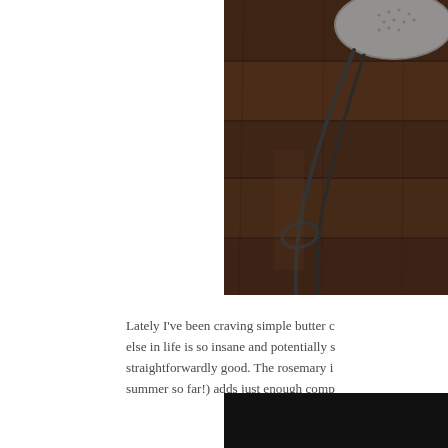[Figure (photo): Close-up photo of kitchen utensils, likely a strainer or whisk, resting against a dark wooden surface/background. Metal wire implements visible against dark brown wood grain.]
Lately I've been craving simple butter c else in life is so insane and potentially s straightforwardly good. The rosemary i summer so far!) adds just enough comp
[Figure (photo): Bottom portion of a second food photograph, showing a very dark/black background, partially visible.]